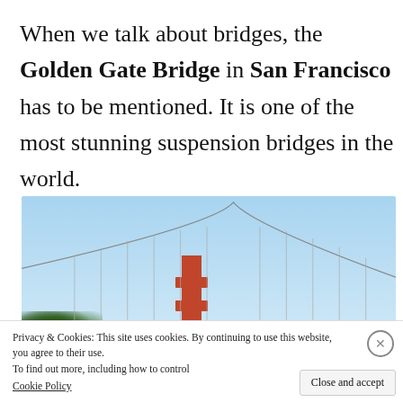When we talk about bridges, the Golden Gate Bridge in San Francisco has to be mentioned. It is one of the most stunning suspension bridges in the world.
[Figure (photo): Photo of the Golden Gate Bridge in San Francisco with a clear blue sky background and trees visible on the lower left.]
Privacy & Cookies: This site uses cookies. By continuing to use this website, you agree to their use. To find out more, including how to control... Cookie Policy